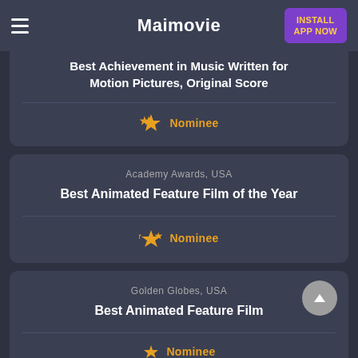Maimovie | INSTALL APP NOW
Best Achievement in Music Written for Motion Pictures, Original Score
Nominee
Academy Awards, USA
Best Animated Feature Film of the Year
Nominee
Golden Globes, USA
Best Animated Feature Film
Nominee